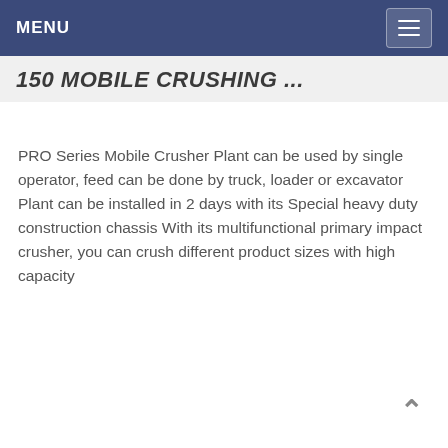MENU
150 MOBILE CRUSHING ...
PRO Series Mobile Crusher Plant can be used by single operator, feed can be done by truck, loader or excavator Plant can be installed in 2 days with its Special heavy duty construction chassis With its multifunctional primary impact crusher, you can crush different product sizes with high capacity